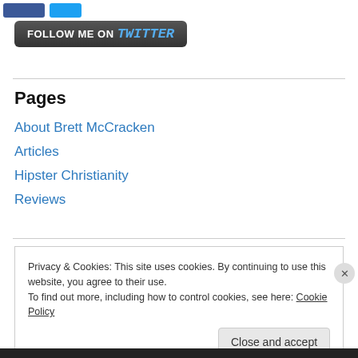[Figure (logo): Social media button placeholders (Facebook and Twitter buttons) at top]
[Figure (screenshot): Follow me on Twitter button with dark rounded rectangle background and Twitter wordmark in blue]
Pages
About Brett McCracken
Articles
Hipster Christianity
Reviews
Privacy & Cookies: This site uses cookies. By continuing to use this website, you agree to their use.
To find out more, including how to control cookies, see here: Cookie Policy
Close and accept